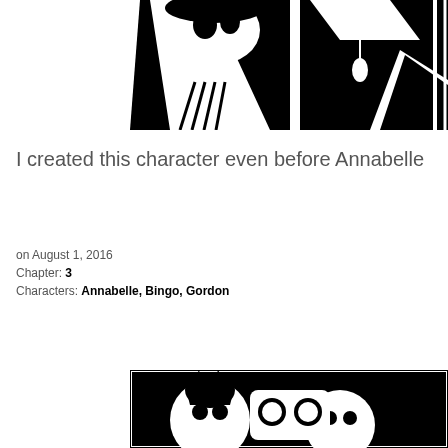[Figure (illustration): Black and white woodcut-style comic illustration showing figures with bold black and white contrast. A person wearing a pendant/necklace is visible along with other stylized figures.]
I created this character even before Annabelle
on August 1, 2016
Chapter: 3
Characters: Annabelle, Bingo, Gordon
[Figure (illustration): Black and white woodcut-style comic illustration showing stylized figures, partially visible at the bottom of the page.]